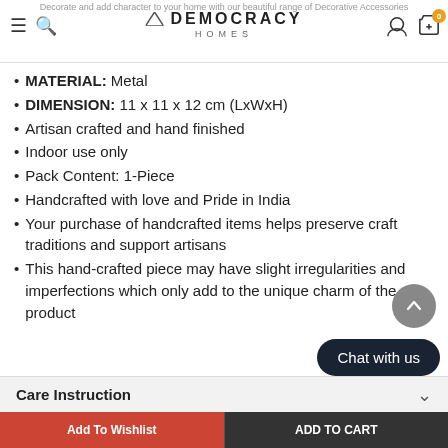Decorate and add character to your home with our beautiful range of Decorative Accessories — DEMOCRACY HOMES
MATERIAL: Metal
DIMENSION: 11 x 11 x 12 cm (LxWxH)
Artisan crafted and hand finished
Indoor use only
Pack Content: 1-Piece
Handcrafted with love and Pride in India
Your purchase of handcrafted items helps preserve craft traditions and support artisans
This hand-crafted piece may have slight irregularities and imperfections which only add to the unique charm of the product
Care Instruction